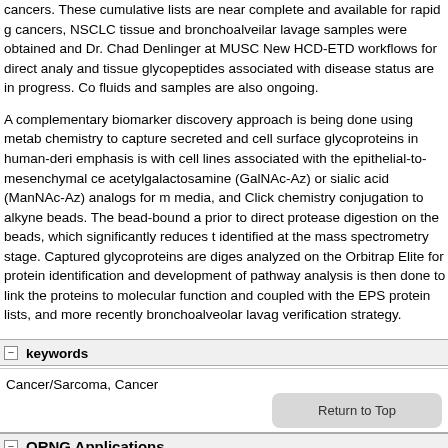cancers. These cumulative lists are near complete and available for rapid g cancers, NSCLC tissue and bronchoalveilar lavage samples were obtained and Dr. Chad Denlinger at MUSC New HCD-ETD workflows for direct analy and tissue glycopeptides associated with disease status are in progress. Co fluids and samples are also ongoing.
A complementary biomarker discovery approach is being done using metab chemistry to capture secreted and cell surface glycoproteins in human-deri emphasis is with cell lines associated with the epithelial-to-mesenchymal ce acetylgalactosamine (GalNAc-Az) or sialic acid (ManNAc-Az) analogs for m media, and Click chemistry conjugation to alkyne beads. The bead-bound a prior to direct protease digestion on the beads, which significantly reduces t identified at the mass spectrometry stage. Captured glycoproteins are diges analyzed on the Orbitrap Elite for protein identification and development of pathway analysis is then done to link the proteins to molecular function and coupled with the EPS protein lists, and more recently bronchoalveolar lavag verification strategy.
keywords
Cancer/Sarcoma, Cancer
ORNG Applications